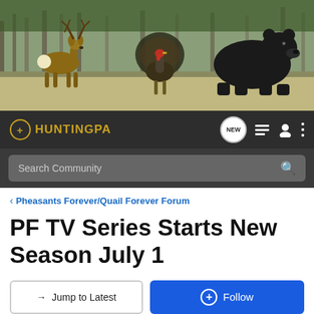[Figure (photo): Banner photo showing a white-tailed deer, a wild turkey displaying its tail feathers, and a black bear in a field with trees in the background]
HuntingPA navigation bar with logo, NEW badge, list icon, user icon, and menu icon
Search Community
< Pheasants Forever/Quail Forever Forum
PF TV Series Starts New Season July 1
→ Jump to Latest
+ Follow
1 - 7 of 7 Posts